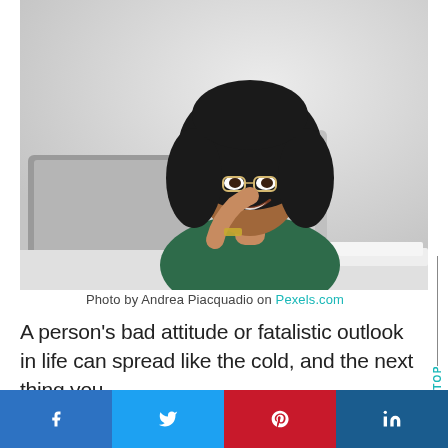[Figure (photo): A smiling woman with curly black hair and glasses sitting at a desk with a laptop and open book, resting her chin on her hand. Light gray background.]
Photo by Andrea Piacquadio on Pexels.com
A person's bad attitude or fatalistic outlook in life can spread like the cold, and the next thing you
BACK TO TOP
f  |  (Twitter bird)  |  (Pinterest P)  |  in